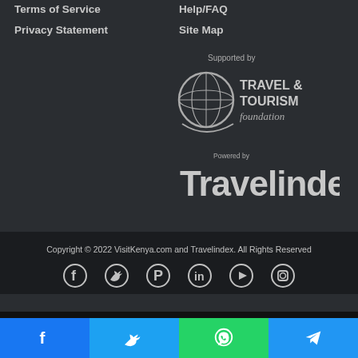Terms of Service
Help/FAQ
Privacy Statement
Site Map
[Figure (logo): Supported by Travel & Tourism Foundation logo with globe icon]
[Figure (logo): Powered by Travelindex logo]
Copyright © 2022 VisitKenya.com and Travelindex. All Rights Reserved
[Figure (infographic): Social media icons: Facebook, Twitter, Pinterest, LinkedIn, YouTube, Instagram]
[Figure (infographic): Social share bar with Facebook, Twitter, WhatsApp, Telegram buttons]